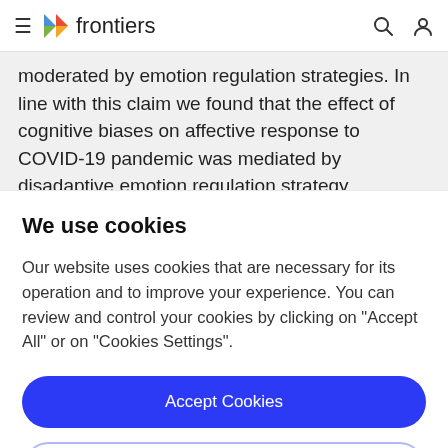≡ frontiers 🔍 👤
moderated by emotion regulation strategies. In line with this claim we found that the effect of cognitive biases on affective response to COVID-19 pandemic was mediated by disadaptive emotion regulation strategy (expressive suppression), but for cognitive reappraisal strategy this
We use cookies
Our website uses cookies that are necessary for its operation and to improve your experience. You can review and control your cookies by clicking on "Accept All" or on "Cookies Settings".
Accept Cookies
Cookies Settings